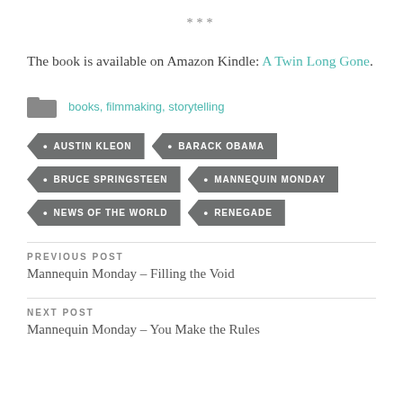***
The book is available on Amazon Kindle: A Twin Long Gone.
books, filmmaking, storytelling
AUSTIN KLEON
BARACK OBAMA
BRUCE SPRINGSTEEN
MANNEQUIN MONDAY
NEWS OF THE WORLD
RENEGADE
PREVIOUS POST
Mannequin Monday – Filling the Void
NEXT POST
Mannequin Monday – You Make the Rules